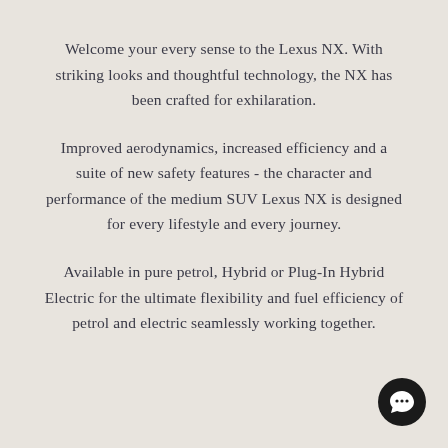Welcome your every sense to the Lexus NX. With striking looks and thoughtful technology, the NX has been crafted for exhilaration.
Improved aerodynamics, increased efficiency and a suite of new safety features - the character and performance of the medium SUV Lexus NX is designed for every lifestyle and every journey.
Available in pure petrol, Hybrid or Plug-In Hybrid Electric for the ultimate flexibility and fuel efficiency of petrol and electric seamlessly working together.
[Figure (illustration): Black circular chat bubble icon in bottom-right corner]